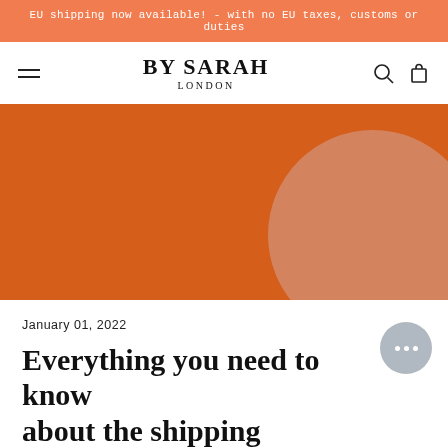EU shipping now available! - with no EU taxes, customs or duties
BY SARAH LONDON
[Figure (illustration): Orange hero banner with a large muted salmon/pink circle shape in the lower right corner on an orange background.]
January 01, 2022
Everything you need to know about the shipping provisions